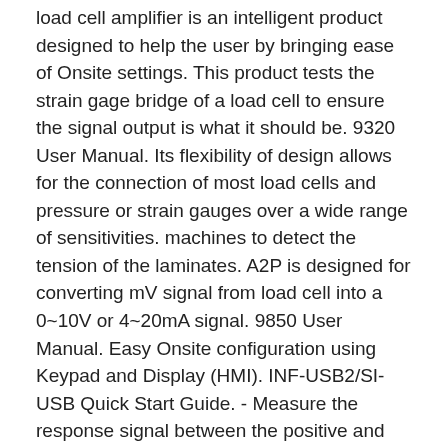load cell amplifier is an intelligent product designed to help the user by bringing ease of Onsite settings. This product tests the strain gage bridge of a load cell to ensure the signal output is what it should be. 9320 User Manual. Its flexibility of design allows for the connection of most load cells and pressure or strain gauges over a wide range of sensitivities. machines to detect the tension of the laminates. A2P is designed for converting mV signal from load cell into a 0~10V or 4~20mA signal. 9850 User Manual. Easy Onsite configuration using Keypad and Display (HMI). INF-USB2/SI-USB Quick Start Guide. - Measure the response signal between the positive and the negative signal wires by directly connecting them to the tester, and make sure that it is comprised between 0 and 0.5 mV (thousandths of a Volt). 9820 Instruction Manual. ZERO ALARM ALARM POWER 1 : NC. Load Shackle Instruction Manual. Analog Load Cell Amplifier - Canopus Instruments The Load Cell Amplifier is a precision amplifier with In-Built Reference Voltage Source for